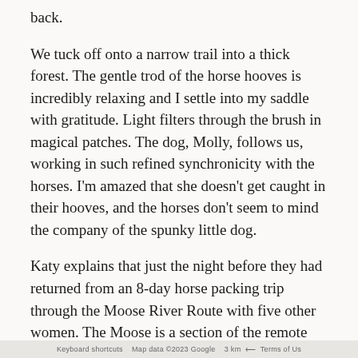back.
We tuck off onto a narrow trail into a thick forest. The gentle trod of the horse hooves is incredibly relaxing and I settle into my saddle with gratitude. Light filters through the brush in magical patches. The dog, Molly, follows us, working in such refined synchronicity with the horses. I'm amazed that she doesn't get caught in their hooves, and the horses don't seem to mind the company of the spunky little dog.
Katy explains that just the night before they had returned from an 8-day horse packing trip through the Moose River Route with five other women. The Moose is a section of the remote Great Divide Trail with many river crossings that requires excellent route-finding skills. They encountered everything from tree-obscured trails to mornings of snow, despite it still being August. I listen intently to her [MAP] their adventure as we approach our firs[t] g.
Keyboard shortcuts   Map data ©2023 Google   3 km   Terms of Us